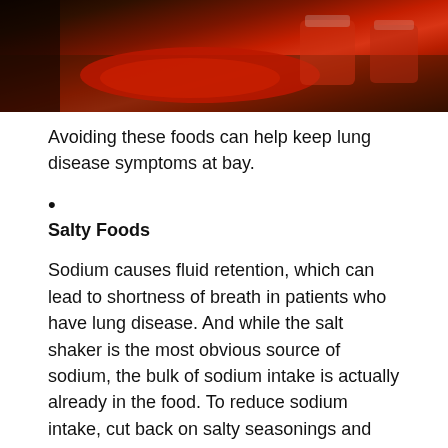[Figure (photo): Photo of red liquid (likely juice or sauce) spilled on a wooden surface with glass cups in the background]
Avoiding these foods can help keep lung disease symptoms at bay.
Salty Foods
Sodium causes fluid retention, which can lead to shortness of breath in patients who have lung disease. And while the salt shaker is the most obvious source of sodium, the bulk of sodium intake is actually already in the food. To reduce sodium intake, cut back on salty seasonings and check the labels on the foods you buy to confirm they dont contain more than 300 milligrams of salt per serving.
To reduce salt intake: Opt for herbs and spices to season